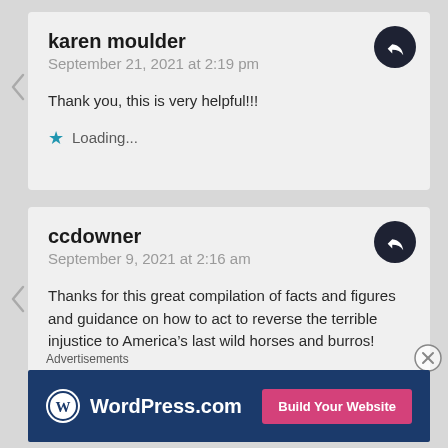karen moulder
September 21, 2021 at 2:19 pm
Thank you, this is very helpful!!!
Loading...
ccdowner
September 9, 2021 at 2:16 am
Thanks for this great compilation of facts and figures and guidance on how to act to reverse the terrible injustice to America’s last wild horses and burros!
Advertisements
[Figure (logo): WordPress.com advertisement banner with WordPress logo and 'Build Your Website' button]